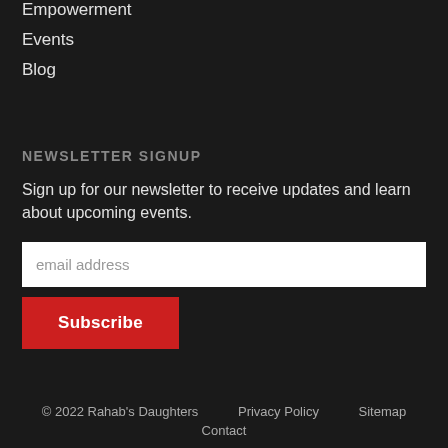Empowerment
Events
Blog
NEWSLETTER SIGNUP
Sign up for our newsletter to receive updates and learn about upcoming events.
email address
Subscribe
© 2022 Rahab's Daughters    Privacy Policy    Sitemap    Contact